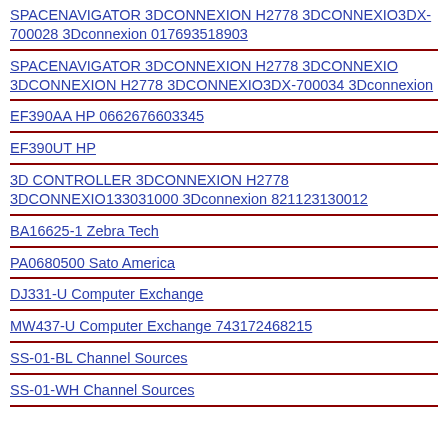SPACENAVIGATOR 3DCONNEXION H2778 3DCONNEXIO3DX-700028 3Dconnexion 017693518903
SPACENAVIGATOR 3DCONNEXION H2778 3DCONNEXIO 3DCONNEXION H2778 3DCONNEXIO3DX-700034 3Dconnexion
EF390AA HP 0662676603345
EF390UT HP
3D CONTROLLER 3DCONNEXION H2778 3DCONNEXIO133031000 3Dconnexion 821123130012
BA16625-1 Zebra Tech
PA0680500 Sato America
DJ331-U Computer Exchange
MW437-U Computer Exchange 743172468215
SS-01-BL Channel Sources
SS-01-WH Channel Sources